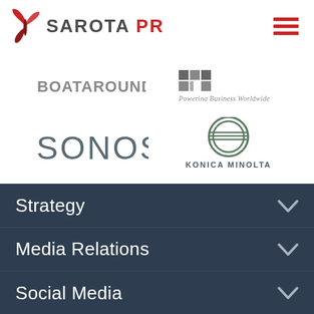[Figure (logo): Sarota PR logo with red butterfly icon and text SAROTA PR plus hamburger menu icon]
[Figure (logo): Client logos: BOATAROUND and EXM Powering Business Worldwide]
[Figure (logo): Client logos: SONOS and Konica Minolta]
Strategy
Media Relations
Social Media